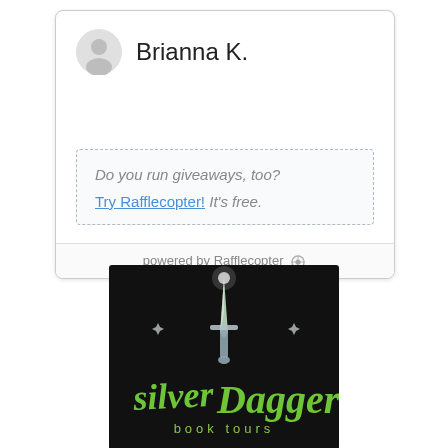[Figure (screenshot): Rafflecopter giveaway widget showing user Brianna K. with avatar, a dashed box with promotional text 'Do you run giveaways, too? Try Rafflecopter! It's free.' and a footer 'powered by Rafflecopter']
[Figure (logo): Silver Dagger Book Tours logo — dark background with a glowing crystalline dagger and green cursive/script text reading 'silver Dagger book tours']